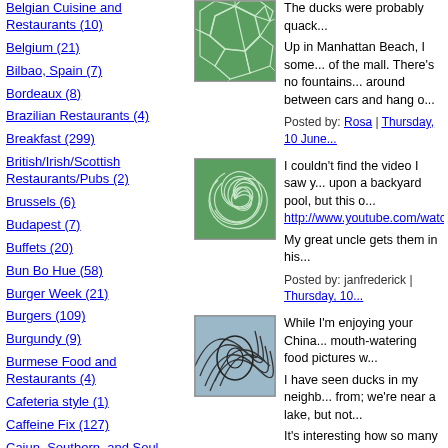Belgian Cuisine and Restaurants (10)
Belgium (21)
Bilbao, Spain (7)
Bordeaux (8)
Brazilian Restaurants (4)
Breakfast (299)
British/Irish/Scottish Restaurants/Pubs (2)
Brussels (6)
Budapest (7)
Buffets (20)
Bun Bo Hue (58)
Burger Week (21)
Burgers (109)
Burgundy (9)
Burmese Food and Restaurants (4)
Cafeteria style (1)
Caffeine Fix (127)
Cajun, Southern, and Soul Food (34)
[Figure (illustration): Green geometric mosaic/polygon pattern thumbnail]
The ducks were probably quack...
Up in Manhattan Beach, I some... of the mall. There's no fountains... around between cars and hang o...
Posted by: Rosa | Thursday, 10 June...
[Figure (illustration): Green swirling spiral pattern thumbnail]
I couldn't find the video I saw y... upon a backyard pool, but this o... http://www.youtube.com/watch7...
My great uncle gets them in his...
Posted by: janfrederick | Thursday, 10...
[Figure (illustration): Blue-grey abstract line drawing thumbnail]
While I'm enjoying your China... mouth-watering food pictures w...
I have seen ducks in my neighb... from; we're near a lake, but not...
It's interesting how so many pho... close to work.